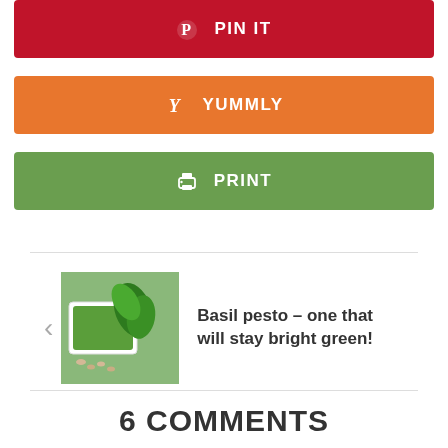[Figure (other): PIN IT button — dark red/crimson background with Pinterest P icon and white bold text PIN IT]
[Figure (other): YUMMLY button — orange background with Yummly Y icon and white bold text YUMMLY]
[Figure (other): PRINT button — green background with printer icon and white bold text PRINT]
[Figure (photo): Photo of basil pesto in a white rectangular dish with fresh green basil leaves and pine nuts on the side]
Basil pesto – one that will stay bright green!
6 COMMENTS